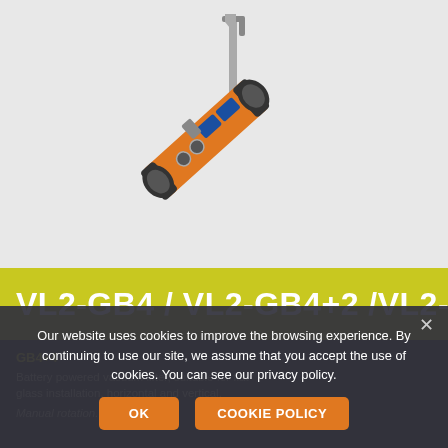[Figure (photo): Orange and black vacuum glass lifter / handler tool (VL2-GB series), shown at a diagonal angle with a vertical pole/mast and suction cups visible.]
VL2-GB4 / VL2-GB4+2 /VL2-
Our website uses cookies to improve the browsing experience. By continuing to use our site, we assume that you accept the use of cookies. You can see our privacy policy.